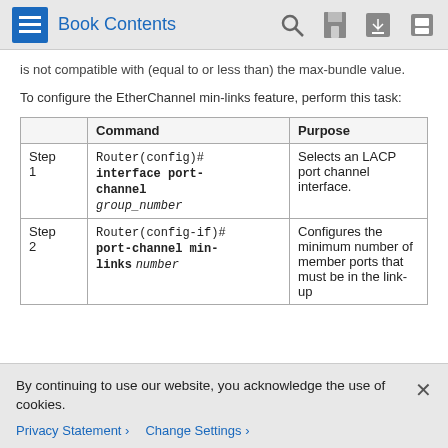Book Contents
is not compatible with (equal to or less than) the max-bundle value.
To configure the EtherChannel min-links feature, perform this task:
|  | Command | Purpose |
| --- | --- | --- |
| Step 1 | Router(config)#
interface port-channel
group_number | Selects an LACP port channel interface. |
| Step 2 | Router(config-if)#
port-channel min-
links number | Configures the minimum number of member ports that must be in the link-up |
By continuing to use our website, you acknowledge the use of cookies.
Privacy Statement > Change Settings >